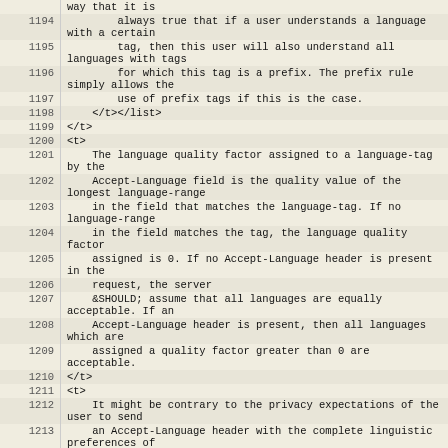| line | content |
| --- | --- |
|  | way that it is |
| 1194 |         always true that if a user understands a language with a certain |
| 1195 |         tag, then this user will also understand all languages with tags |
| 1196 |         for which this tag is a prefix. The prefix rule simply allows the |
| 1197 |         use of prefix tags if this is the case. |
| 1198 |     </t></list> |
| 1199 | </t> |
| 1200 | <t> |
| 1201 |     The language quality factor assigned to a language-tag by the |
| 1202 |     Accept-Language field is the quality value of the longest language-range |
| 1203 |     in the field that matches the language-tag. If no language-range |
| 1204 |     in the field matches the tag, the language quality factor |
| 1205 |     assigned is 0. If no Accept-Language header is present in the |
| 1206 |     request, the server |
| 1207 |     &SHOULD; assume that all languages are equally acceptable. If an |
| 1208 |     Accept-Language header is present, then all languages which are |
| 1209 |     assigned a quality factor greater than 0 are acceptable. |
| 1210 | </t> |
| 1211 | <t> |
| 1212 |     It might be contrary to the privacy expectations of the user to send |
| 1213 |     an Accept-Language header with the complete linguistic preferences of |
|  |  |